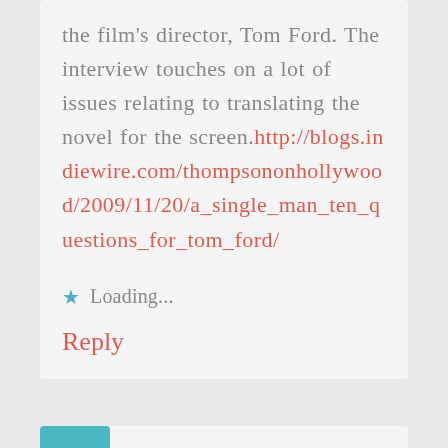the film's director, Tom Ford. The interview touches on a lot of issues relating to translating the novel for the screen.http://blogs.indiewire.com/thompsononhollywood/2009/11/20/a_single_man_ten_questions_for_tom_ford/
Loading...
Reply